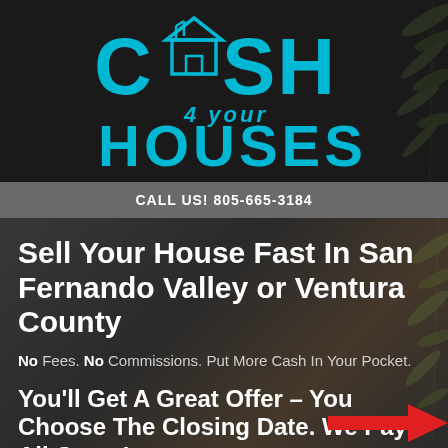[Figure (logo): Cash 4 Your Houses logo with house icon, teal/cyan colored text on dark background]
CALL US! 805-665-3184
Sell Your House Fast In San Fernando Valley or Ventura County
No Fees. No Commissions. Put More Cash In Your Pocket.
You'll Get A Great Offer – You Choose The Closing Date. We Pay All Costs!
Fill out the short form…